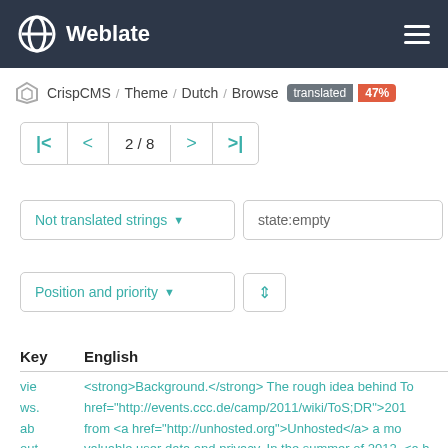Weblate
CrispCMS / Theme / Dutch / Browse translated 47%
2 / 8
Not translated strings ▾  state:empty
Position and priority ▾  ⇅
| Key | English |
| --- | --- |
| vie ws. ab out .ju mb otr on | <strong>Background.</strong> The rough idea behind To href="http://events.ccc.de/camp/2011/wiki/ToS;DR">201 from <a href="http://unhosted.org">Unhosted</a> a mo valuable user data and privacy. In the summer of 2012, <a h href="http://twitter.com/hugoroyd">@hugoroyd</a>) st then, more people have joined the team and have contrib is transparent and the discussions happen in public. Our w organisations and individual donations and gets release |